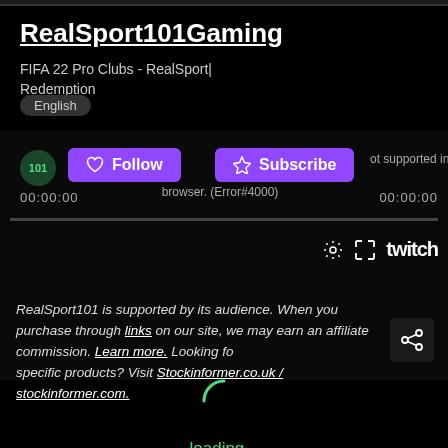RealSport101Gaming
FIFA 22 Pro Clubs - RealSport Redemption
English
[Figure (screenshot): Twitch embedded video player showing error state with Follow and Subscribe buttons, timecodes 00:00:00 on both sides, error message 'not supported in this browser. (Error#4000)', progress bar, settings gear icon, fullscreen icon, and Twitch logo]
RealSport101 is supported by its audience. When you purchase through links on our site, we may earn an affiliate commission. Learn more. Looking for specific products? Visit Stockinformer.co.uk / stockinformer.com.
[Figure (illustration): Circular loading spinner arc in teal/green color]
loading...